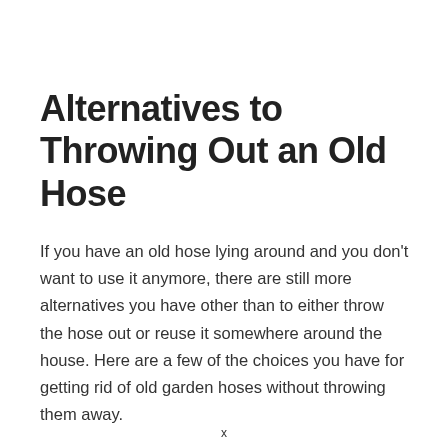Alternatives to Throwing Out an Old Hose
If you have an old hose lying around and you don't want to use it anymore, there are still more alternatives you have other than to either throw the hose out or reuse it somewhere around the house. Here are a few of the choices you have for getting rid of old garden hoses without throwing them away.